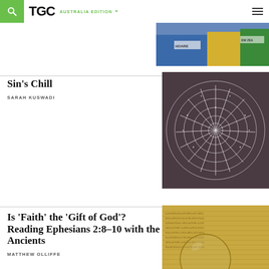TGC – AUSTRALIA EDITION
[Figure (photo): Partial sports photo showing athletes, possibly runners, with race bibs including 'HOARE']
Sin's Chill
SARAH KUSWADI
[Figure (photo): Close-up photograph of a spider web with dew drops against a dark background]
Is 'Faith' the 'Gift of God'? Reading Ephesians 2:8–10 with the Ancients
MATTHEW OLLIFFE
[Figure (photo): Close-up of ancient Bible text with a magnifying glass]